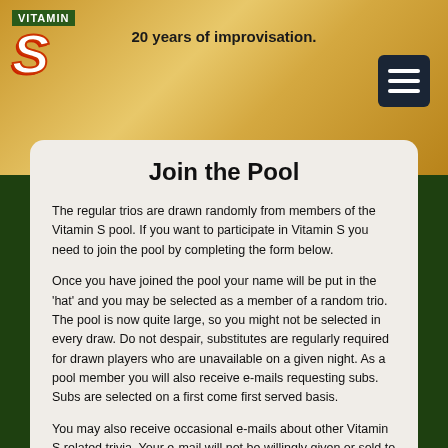20 years of improvisation.
[Figure (logo): Vitamin S logo with green VITAMIN text box and large italic S letter]
[Figure (other): Hamburger menu icon button (three horizontal lines on dark background)]
Join the Pool
The regular trios are drawn randomly from members of the Vitamin S pool. If you want to participate in Vitamin S you need to join the pool by completing the form below.
Once you have joined the pool your name will be put in the 'hat' and you may be selected as a member of a random trio. The pool is now quite large, so you might not be selected in every draw. Do not despair, substitutes are regularly required for drawn players who are unavailable on a given night. As a pool member you will also receive e-mails requesting subs. Subs are selected on a first come first served basis.
You may also receive occasional e-mails about other Vitamin S related trivia. Your e-mail will not be willingly given or sold to any third parties.
| Name |  |
| --- | --- |